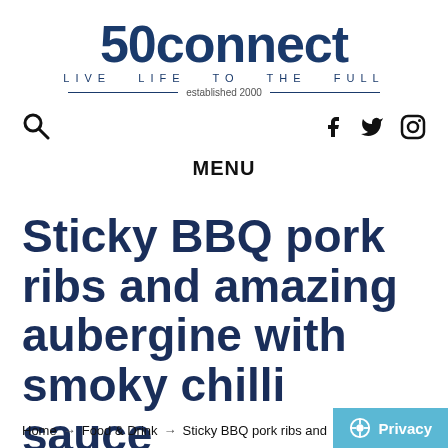[Figure (logo): 50connect logo with tagline 'LIVE LIFE TO THE FULL' and 'established 2000']
Search icon, Facebook, Twitter, Instagram icons
MENU
Sticky BBQ pork ribs and amazing aubergine with smoky chilli sauce
Home → Food & Drink → Sticky BBQ pork ribs and   Privacy